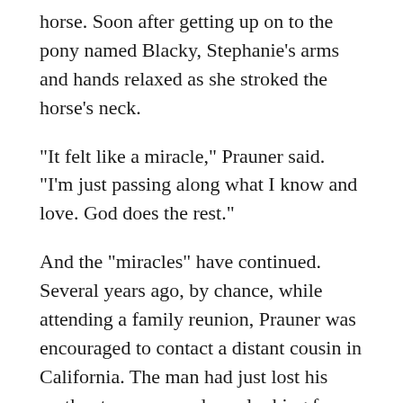horse. Soon after getting up on to the pony named Blacky, Stephanie's arms and hands relaxed as she stroked the horse's neck.
“It felt like a miracle,” Prauner said. “I’m just passing along what I know and love. God does the rest.”
And the “miracles” have continued. Several years ago, by chance, while attending a family reunion, Prauner was encouraged to contact a distant cousin in California. The man had just lost his mother to cancer and was looking for a meaningful way to honor his mom’s life. The result was a major gift that enabled the Prauners to build new covered arenas for prepping the horses and providing lessons.